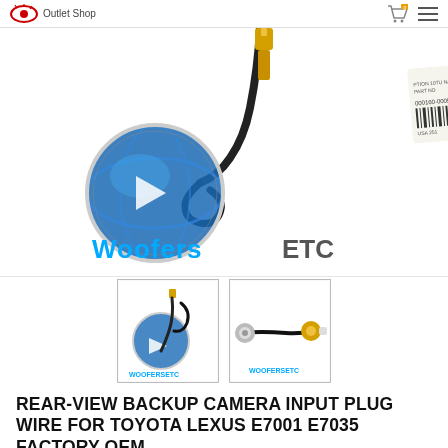Outlet Shop
[Figure (photo): Main product photo showing a rear-view backup camera input plug wire with yellow RCA connector, black cable, and a label reading 000160-00058002, with WoofersEtc logo watermark on a white background.]
[Figure (photo): Thumbnail 1: Backup camera plug wire with yellow connector and WoofersEtc watermark]
[Figure (photo): Thumbnail 2: Backup camera plug wire showing black cable with yellow RCA connector and WoofersEtc watermark]
REAR-VIEW BACKUP CAMERA INPUT PLUG WIRE FOR TOYOTA LEXUS E7001 E7035 FACTORY OEM